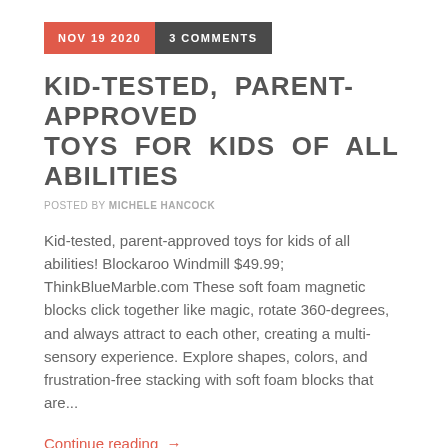NOV 19 2020   3 COMMENTS
KID-TESTED, PARENT-APPROVED TOYS FOR KIDS OF ALL ABILITIES
POSTED BY MICHELE HANCOCK
Kid-tested, parent-approved toys for kids of all abilities! Blockaroo Windmill $49.99; ThinkBlueMarble.com These soft foam magnetic blocks click together like magic, rotate 360-degrees, and always attract to each other, creating a multi-sensory experience. Explore shapes, colors, and frustration-free stacking with soft foam blocks that are...
Continue reading →